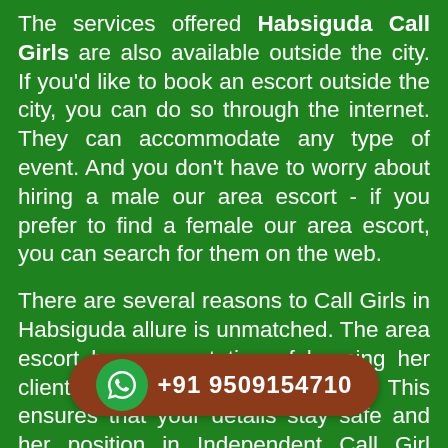The services offered Habsiguda Call Girls are also available outside the city. If you'd like to book an escort outside the city, you can do so through the internet. They can accommodate any type of event. And you don't have to worry about hiring a male our area escort - if you prefer to find a female our area escort, you can search for them on the web.
There are several reasons to Call Girls in Habsiguda allure is unmatched. The area escort has a reputation of keeping her clients' arrangements confidential. This ensures that your details stay safe and her position in Independent Call Girl Habsiguda guarantees full confidentiality and is a great choice for both men and women. It's essential to ensure you're comfortable with the person you hire.
Call Girls Habsiguda can even more pleasurable. The agency's backend team will
[Figure (infographic): A rounded rectangular dark red/brown call-to-action bar with a WhatsApp green circle icon on the left and the phone number +91 9509154710 in white bold text.]